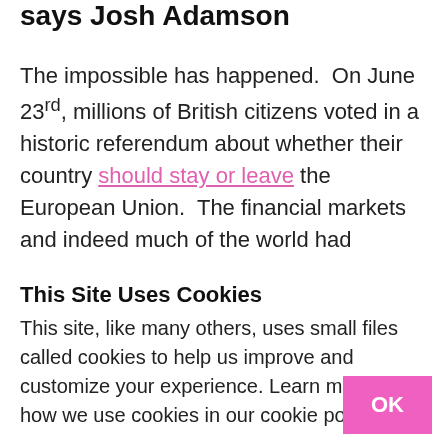says Josh Adamson
The impossible has happened.  On June 23rd, millions of British citizens voted in a historic referendum about whether their country should stay or leave the European Union.  The financial markets and indeed much of the world had
This Site Uses Cookies
This site, like many others, uses small files called cookies to help us improve and customize your experience. Learn more about how we use cookies in our cookie policy.